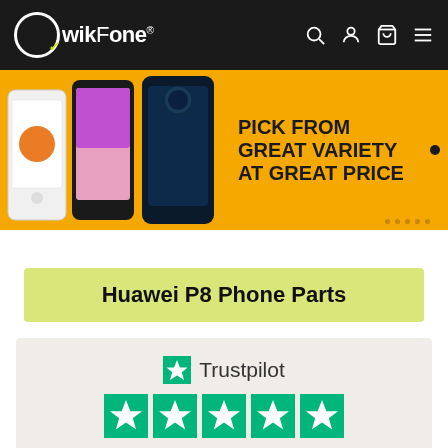[Figure (screenshot): QwikFone navigation bar with logo, search, account, cart, and menu icons on black background]
[Figure (illustration): Promotional banner with three smartphones on yellow/orange background with text PICK FROM GREAT VARIETY AT GREAT PRICE]
Huawei P8 Phone Parts
[Figure (logo): Trustpilot widget showing 5 green stars, TrustScore 4.8 and 842 reviews]